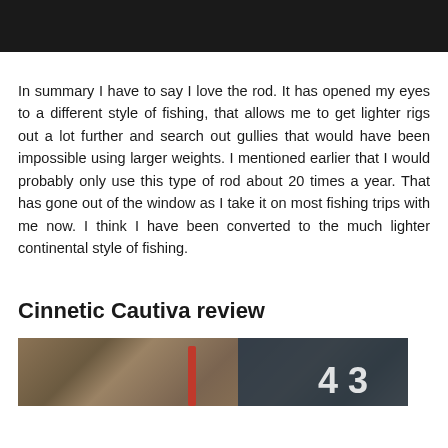[Figure (photo): Top portion of a fishing-related photo, dark background]
In summary I have to say I love the rod. It has opened my eyes to a different style of fishing, that allows me to get lighter rigs out a lot further and search out gullies that would have been impossible using larger weights. I mentioned earlier that I would probably only use this type of rod about 20 times a year. That has gone out of the window as I take it on most fishing trips with me now. I think I have been converted to the much lighter continental style of fishing.
Cinnetic Cautiva review
[Figure (photo): Bottom portion of a photo showing gravel/pebbles with a red rod and partial number '43' overlay on a dark blue background]